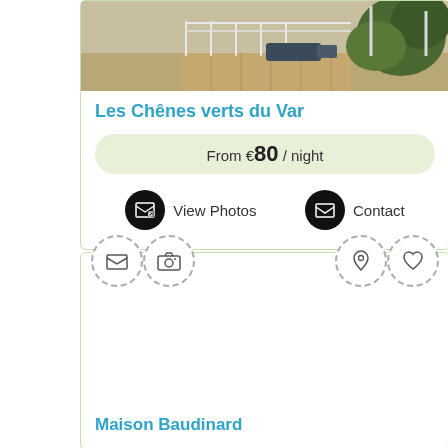[Figure (photo): Outdoor terrace with lounge chairs and stone wall, property listing photo for Les Chênes verts du Var]
Les Chênes verts du Var
From €80 / night
View Photos
Contact
[Figure (infographic): Icon tabs row: mail icon, camera icon, location pin icon, heart icon — all in dashed circle borders]
Maison Baudinard